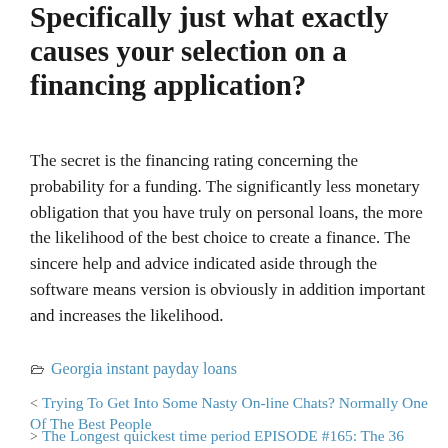Specifically just what exactly causes your selection on a financing application?
The secret is the financing rating concerning the probability for a funding. The significantly less monetary obligation that you have truly on personal loans, the more the likelihood of the best choice to create a finance. The sincere help and advice indicated aside through the software means version is obviously in addition important and increases the likelihood.
Georgia instant payday loans
< Trying To Get Into Some Nasty On-line Chats? Normally One Of The Best People
> The Longest quickest time period EPISODE #165: The 36 Questions to Ask your lover Before Having Your